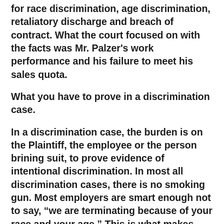for race discrimination, age discrimination, retaliatory discharge and breach of contract. What the court focused on with the facts was Mr. Palzer's work performance and his failure to meet his sales quota.
What you have to prove in a discrimination case.
In a discrimination case, the burden is on the Plaintiff, the employee or the person brining suit, to prove evidence of intentional discrimination. In most all discrimination cases, there is no smoking gun. Most employers are smart enough not to say, “we are terminating because of your race and your age.” This is what makes these cases hard. An employee has to prove discrimination through circumstantial evidence to show a discriminatory intent. If the employee can bring evidence to show discrimination, then the burden shifts to the employer to offer a legitimate